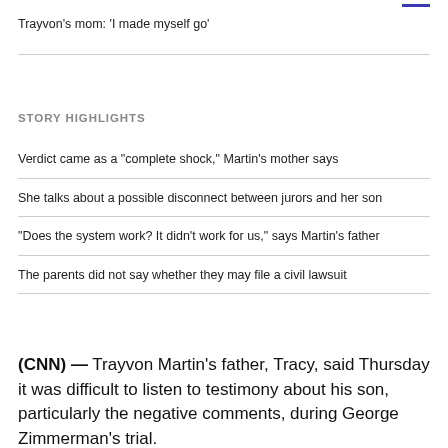Trayvon's mom: 'I made myself go'
STORY HIGHLIGHTS
Verdict came as a "complete shock," Martin's mother says
She talks about a possible disconnect between jurors and her son
"Does the system work? It didn't work for us," says Martin's father
The parents did not say whether they may file a civil lawsuit
(CNN) — Trayvon Martin's father, Tracy, said Thursday it was difficult to listen to testimony about his son, particularly the negative comments, during George Zimmerman's trial.